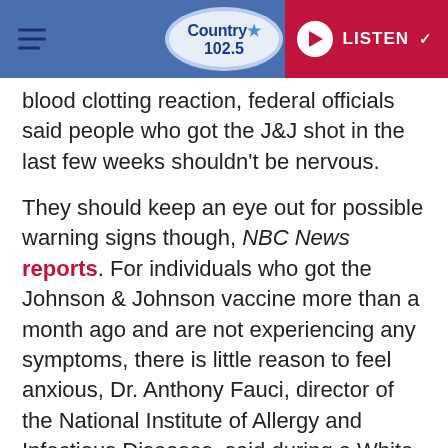Country 102.5 — LISTEN
blood clotting reaction, federal officials said people who got the J&J shot in the last few weeks shouldn't be nervous.
They should keep an eye out for possible warning signs though, NBC News reports. For individuals who got the Johnson & Johnson vaccine more than a month ago and are not experiencing any symptoms, there is little reason to feel anxious, Dr. Anthony Fauci, director of the National Institute of Allergy and Infectious Diseases, said during a White House briefing. Any serious reaction would have been evident by now